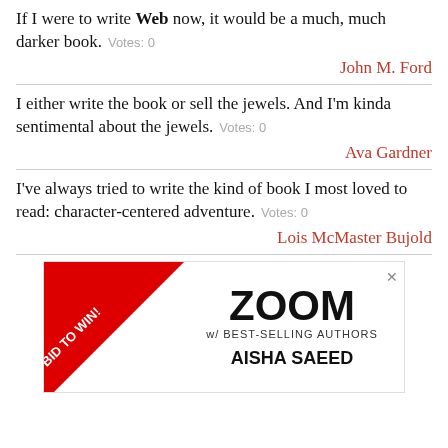If I were to write Web now, it would be a much, much darker book.  Votes: 0
John M. Ford
I either write the book or sell the jewels. And I'm kinda sentimental about the jewels.  Votes: 0
Ava Gardner
I've always tried to write the kind of book I most loved to read: character-centered adventure.  Votes: 0
Lois McMaster Bujold
[Figure (infographic): Advertisement banner with red diagonal 'BID TO WIN!' corner ribbon, ZOOM text, 'w/ BEST-SELLING AUTHORS' subtitle, and 'AISHA SAEED' author name]